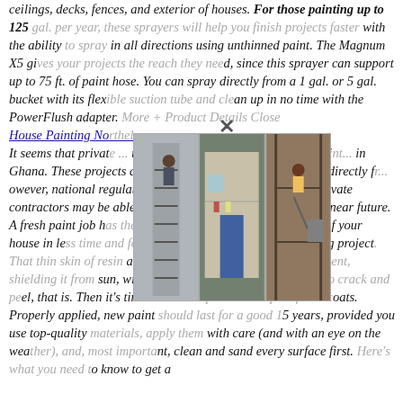ceilings, decks, fences, and exterior of houses. For those painting up to 125 gal. per year, these sprayers will help you finish projects faster with the ability to spray in all directions using unthinned paint. The Magnum X5 gives your projects the reach they need, since this sprayer can support up to 75 ft. of paint hose. You can spray directly from a 1 gal. or 5 gal. bucket with its flexible suction tube and clean up in no time with the PowerFlush adapter. More + Product Details Close
House Painting No... (link)
[Figure (photo): Three side-by-side photos showing house painting scenes in Ghana: a person on a ladder painting a house exterior, a house with blue door and hanging clothes, and a person working at height with a machine.]
It seems that private ... currently being used for large-scale painting ... in Ghana. These projects are typically ... who receive contracts directly from ... however, national regulations are constantly changing, and private contractors may be able to bid on high profile projects in the near future. A fresh paint job has the power to totally transform the look of your house in less time and for less cash than any other remodeling project. That thin skin of resin and pigment also protects your investment, shielding it from sun, wind, and rain—until the paint begins to crack and peel, that is. Then it's time to button up with a couple of new coats. Properly applied, new paint should last for a good 15 years, provided you use top-quality materials, apply them with care (and with an eye on the weather), and, most important, clean and sand every surface first. Here's what you need to know to get a